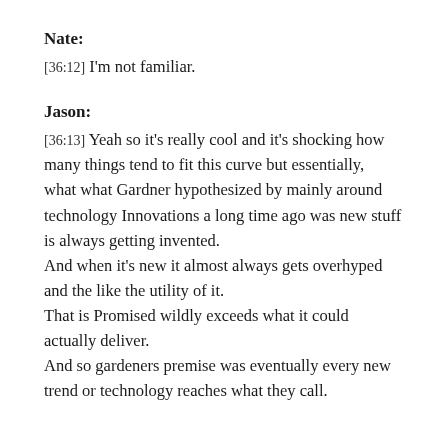Nate:
[36:12] I'm not familiar.
Jason:
[36:13] Yeah so it's really cool and it's shocking how many things tend to fit this curve but essentially, what what Gardner hypothesized by mainly around technology Innovations a long time ago was new stuff is always getting invented. And when it's new it almost always gets overhyped and the like the utility of it. That is Promised wildly exceeds what it could actually deliver. And so gardeners premise was eventually every new trend or technology reaches what they call.